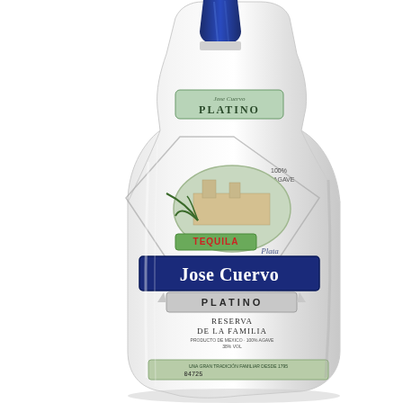[Figure (photo): Product photo of a Jose Cuervo Platino Tequila bottle on a white background. The clear glass bottle has a blue cap/cork, a green neck label reading 'Jose Cuervo PLATINO', and a detailed main label with an oval scene depicting an agave field and a hacienda. The label features the text: '100% DE AGAVE', 'TEQUILA', 'Plata', 'Jose Cuervo' in large blue gothic lettering, 'PLATINO', 'RESERVA DE LA FAMILIA', and at the bottom a green strip reading 'UNA GRAN TRADICIÓN FAMILIAR DESDE 1795' with a barcode '04725'. The bottle is photographed at a slight angle showing the front and right side.]